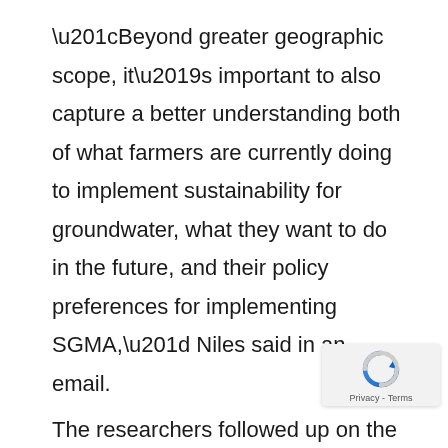“Beyond greater geographic scope, it’s important to also capture a better understanding both of what farmers are currently doing to implement sustainability for groundwater, what they want to do in the future, and their policy preferences for implementing SGMA,” Niles said in an email.
The researchers followed up on the focus groups by conducting a survey of more than 130 farmers in Yolo County last summer and are now analyzing that data, she said.
“Additional surveys, interviews and focus gro... with farmers and farmer organizations...